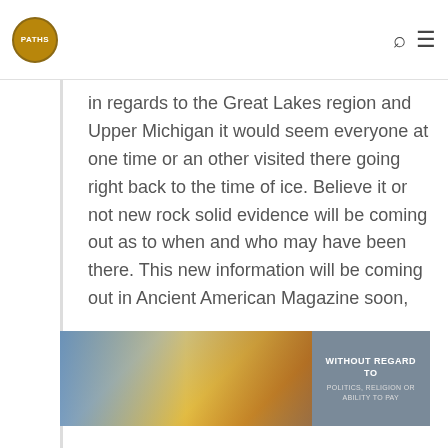PATHS
in regards to the Great Lakes region and Upper Michigan it would seem everyone at one time or an other visited there going right back to the time of ice. Believe it or not new rock solid evidence will be coming out as to when and who may have been there. This new information will be coming out in Ancient American Magazine soon,
Reply
[Figure (photo): Advertisement banner showing an airplane being loaded with cargo, with a dark overlay text box reading WITHOUT REGARD TO POLITICS, RELIGION OR ABILITY TO PAY]